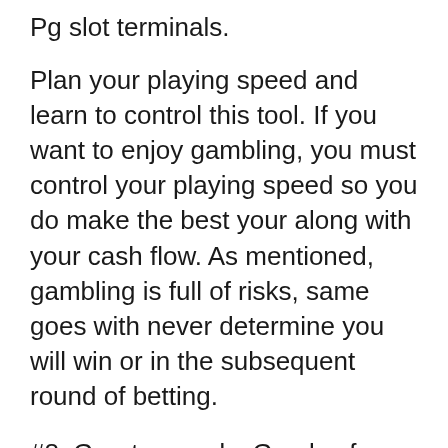Pg slot terminals.
Plan your playing speed and learn to control this tool. If you want to enjoy gambling, you must control your playing speed so you do make the best your along with your cash flow. As mentioned, gambling is full of risks, same goes with never determine you will win or in the subsequent round of betting.
#8: Great rewards. Go play from a blackjack table for several hours, and play in a very slot machine for several hours, then see a single gives the finest comps. Slots players acquire the best comps by far out every and every casino gambler.
First...